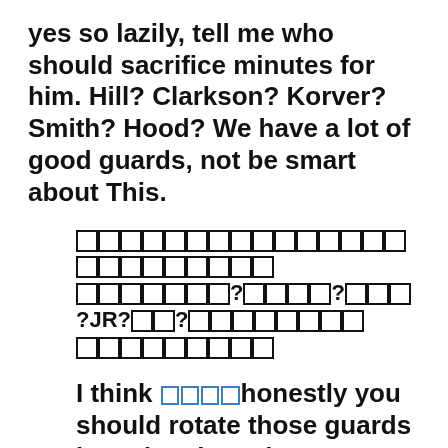yes so lazily, tell me who should sacrifice minutes for him. Hill? Clarkson? Korver? Smith? Hood? We have a lot of good guards, not be smart about This.
[CJK text block with question marks and JR? references]
I think [boxes] honestly you should rotate those guards based on how they are playing.
If we play Toronto in the